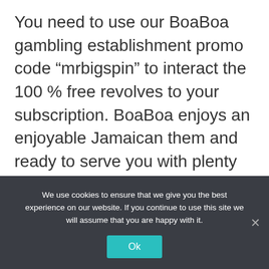You need to use our BoaBoa gambling establishment promo code “mrbigspin” to interact the 100 % free revolves to your subscription. BoaBoa enjoys an enjoyable Jamaican them and ready to serve you with plenty of prominent ports. After you find yourself along with your totally free spins, you could potentially always love this particular casino and make use of the exclusive 150% on the first deposit. We do have the best no deposit local
We use cookies to ensure that we give you the best experience on our website. If you continue to use this site we will assume that you are happy with it.